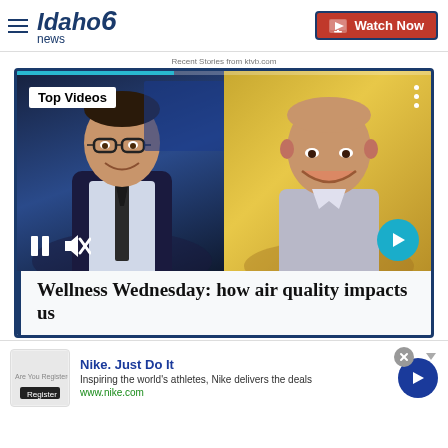Idaho6 News — Watch Now
Recent Stories from ktvb.com
[Figure (screenshot): Video player showing two people in a split-screen interview format. Left side shows a male news anchor in a dark suit with glasses against a blue studio background. Right side shows a bald man smiling against a golden/tan background. A 'Top Videos' badge is in the top left. Video controls (pause, mute) are visible at the bottom left, and a teal next-arrow button is at the bottom right.]
Wellness Wednesday: how air quality impacts us
Nike. Just Do It
Inspiring the world's athletes, Nike delivers the deals
www.nike.com